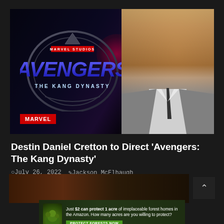[Figure (photo): Hero image composite: Marvel Studios Avengers The Kang Dynasty logo on dark background left side, man in grey suit with dark tie on right side. Red MARVEL badge in bottom left corner.]
Destin Daniel Cretton to Direct ‘Avengers: The Kang Dynasty’
July 26, 2022  Jackson McElhaugh
[Figure (photo): Partially visible bottom thumbnail image with dark warm tones]
Just $2 can protect 1 acre of irreplaceable forest homes in the Amazon. How many acres are you willing to protect?